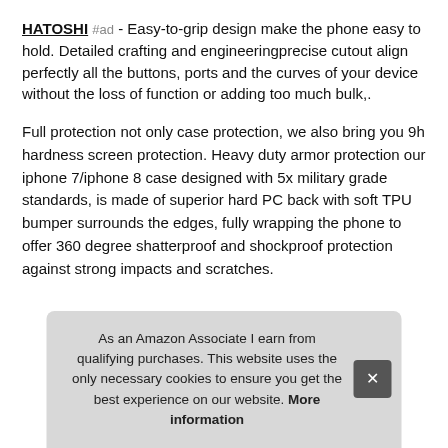HATOSHI #ad - Easy-to-grip design make the phone easy to hold. Detailed crafting and engineeringprecise cutout align perfectly all the buttons, ports and the curves of your device without the loss of function or adding too much bulk,.
Full protection not only case protection, we also bring you 9h hardness screen protection. Heavy duty armor protection our iphone 7/iphone 8 case designed with 5x military grade standards, is made of superior hard PC back with soft TPU bumper surrounds the edges, fully wrapping the phone to offer 360 degree shatterproof and shockproof protection against strong impacts and scratches.
03m... only... with touch screen sensitivity, but also ensure you the original
As an Amazon Associate I earn from qualifying purchases. This website uses the only necessary cookies to ensure you get the best experience on our website. More information